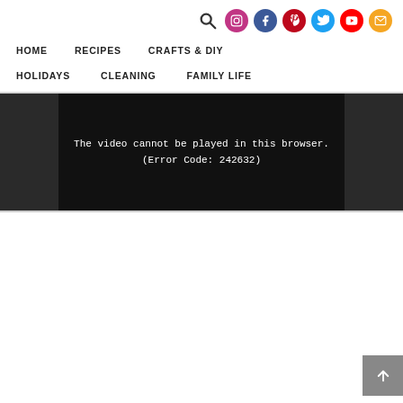HOME   RECIPES   CRAFTS & DIY   HOLIDAYS   CLEANING   FAMILY LIFE
[Figure (screenshot): Video player error message on black background: 'The video cannot be played in this browser. (Error Code: 242632)']
The video cannot be played in this browser. (Error Code: 242632)